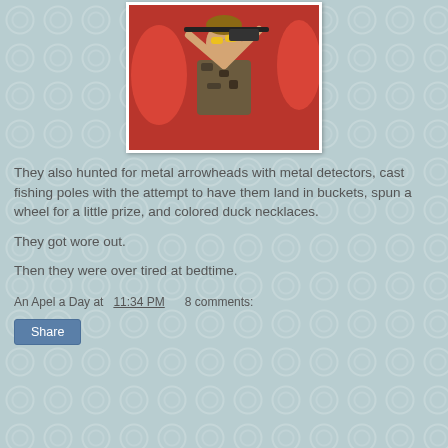[Figure (photo): Child in camouflage shirt holding a rifle or gun up, wearing yellow glasses, inside a red inflatable or padded structure]
They also hunted for metal arrowheads with metal detectors, cast fishing poles with the attempt to have them land in buckets, spun a wheel for a little prize, and colored duck necklaces.
They got wore out.
Then they were over tired at bedtime.
An Apel a Day at 11:34 PM   8 comments: